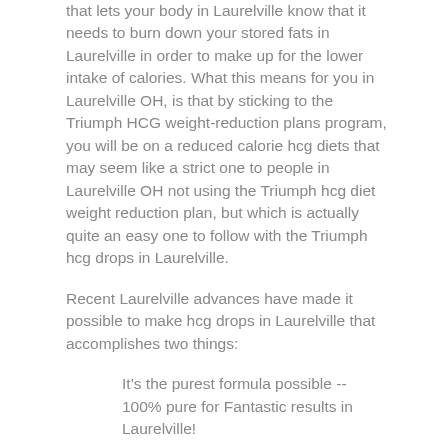that lets your body in Laurelville know that it needs to burn down your stored fats in Laurelville in order to make up for the lower intake of calories. What this means for you in Laurelville OH, is that by sticking to the Triumph HCG weight-reduction plans program, you will be on a reduced calorie hcg diets that may seem like a strict one to people in Laurelville OH not using the Triumph hcg diet weight reduction plan, but which is actually quite an easy one to follow with the Triumph hcg drops in Laurelville.
Recent Laurelville advances have made it possible to make hcg drops in Laurelville that accomplishes two things:
It’s the purest formula possible -- 100% pure for Fantastic results in Laurelville!
It’s now very affordable for the Laurelville Ohio dieter to use Triumph hcg drops for weight reducing
Now with the Triumph hcg dietary weight reduction plans formula, you can lose fat in a safe, natural way that is now affordable for anyone in Laurelville.
The Four Benefits of the Triumph Hcg Diet.